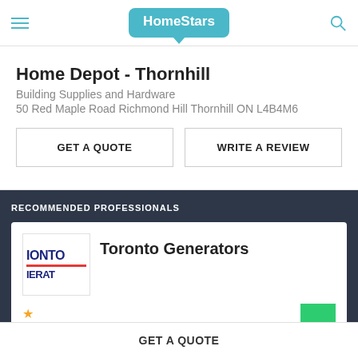HomeStars
Home Depot - Thornhill
Building Supplies and Hardware
50 Red Maple Road Richmond Hill Thornhill ON L4B4M6
GET A QUOTE | WRITE A REVIEW
RECOMMENDED PROFESSIONALS
Toronto Generators
GET A QUOTE